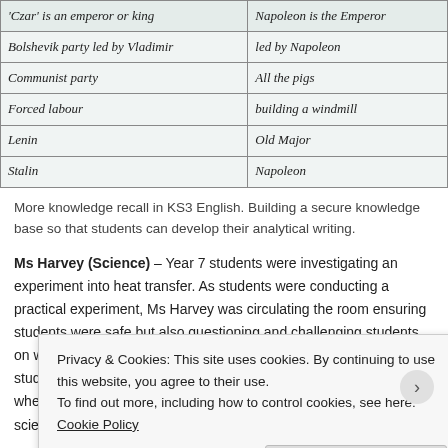[Figure (photo): Photograph of a handwritten two-column comparison table showing Russian Revolution vs Animal Farm parallels. Left column entries: 'Czar is an emperor or king', 'Bolshevik party led by Vladimir', 'Communist party', 'Forced labour', 'Lenin', 'Stalin'. Right column entries: 'Napoleon is the Emperor', 'led by Napoleon', 'All the pigs', 'building a windmill', 'Old Major', 'Napoleon'.]
More knowledge recall in KS3 English. Building a secure knowledge base so that students can develop their analytical writing.
Ms Harvey (Science) – Year 7 students were investigating an experiment into heat transfer. As students were conducting a practical experiment, Ms Harvey was circulating the room ensuring students were safe but also questioning and challenging students on what they were doing and why. Following the experiment students were supported to write an evaluation that explained whether or not their hypothesis had been proved and what was the scientific evidence to support this. Looking through student books, it... t...
Privacy & Cookies: This site uses cookies. By continuing to use this website, you agree to their use. To find out more, including how to control cookies, see here: Cookie Policy
Close and accept